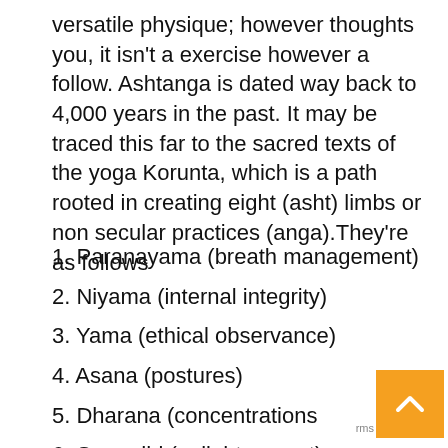versatile physique; however thoughts you, it isn't a exercise however a follow. Ashtanga is dated way back to 4,000 years in the past. It may be traced this far to the sacred texts of the yoga Korunta, which is a path rooted in creating eight (asht) limbs or non secular practices (anga).They're as follows
1. Paranayama (breath management)
2. Niyama (internal integrity)
3. Yama (ethical observance)
4. Asana (postures)
5. Dharana (concentrations
6. Samadhi (enlightenment)
7. Dhyana (meditation)
8. Pratyahara (sensory withdrawal)Whereas some